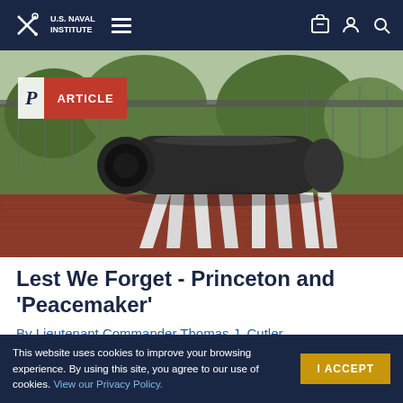U.S. Naval Institute
[Figure (photo): Large black cannon on white A-frame supports, displayed outdoors on a red brick surface with green hedges, trees, and a chain-link fence in the background. An 'ARTICLE' badge overlays the top-left corner.]
Lest We Forget - Princeton and 'Peacemaker'
By Lieutenant Commander Thomas J. Cutler,
This website uses cookies to improve your browsing experience. By using this site, you agree to our use of cookies. View our Privacy Policy.